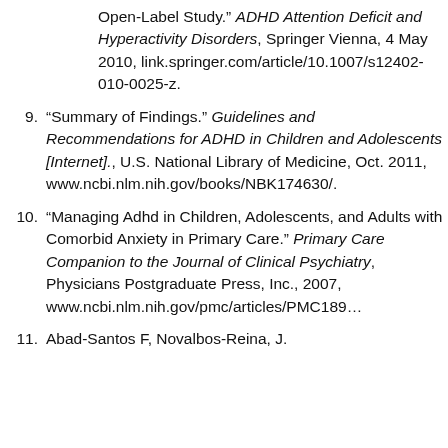(continuation) Open-Label Study.” ADHD Attention Deficit and Hyperactivity Disorders, Springer Vienna, 4 May 2010, link.springer.com/article/10.1007/s12402-010-0025-z.
9. “Summary of Findings.” Guidelines and Recommendations for ADHD in Children and Adolescents [Internet]., U.S. National Library of Medicine, Oct. 2011, www.ncbi.nlm.nih.gov/books/NBK174630/.
10. “Managing Adhd in Children, Adolescents, and Adults with Comorbid Anxiety in Primary Care.” Primary Care Companion to the Journal of Clinical Psychiatry, Physicians Postgraduate Press, Inc., 2007, www.ncbi.nlm.nih.gov/pmc/articles/PMC1896...
11. Abad-Santos F, Novalbos-Reina, J.